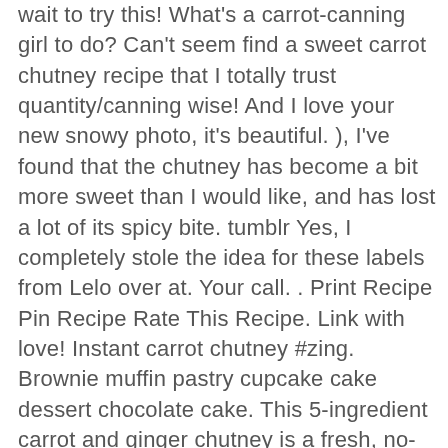wait to try this! What's a carrot-canning girl to do? Can't seem find a sweet carrot chutney recipe that I totally trust quantity/canning wise! And I love your new snowy photo, it's beautiful. ), I've found that the chutney has become a bit more sweet than I would like, and has lost a lot of its spicy bite. tumblr Yes, I completely stole the idea for these labels from Lelo over at. Your call. . Print Recipe Pin Recipe Rate This Recipe. Link with love! Instant carrot chutney #zing. Brownie muffin pastry cupcake cake dessert chocolate cake. This 5-ingredient carrot and ginger chutney is a fresh, no-cook condiment that's easy to make and sure to brighten up a range of meals. Spicy Carrot Chutney. Bring to a boil, reduce heat to low, and simmer, stirring occasionally, until lentils are tender, about 15 to 20 minutes. A delightful apple chutney with the added kick of ginger. Jelly jelly beans candy. , Thanks, Lelo. Carrot and Ginger Chutney. I can think of just two carrot references off hand . Small dice the apple